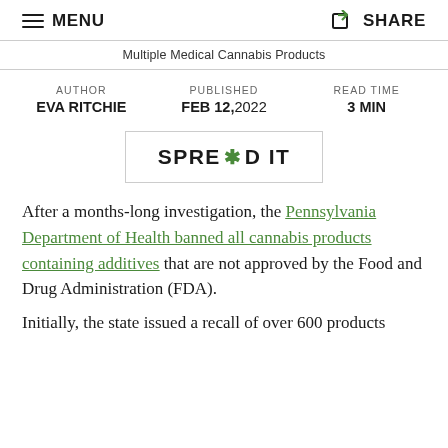MENU  SHARE
Multiple Medical Cannabis Products
AUTHOR EVA RITCHIE   PUBLISHED FEB 12,2022   READ TIME 3 MIN
[Figure (other): SPREAD IT button with cannabis leaf icon replacing the O]
After a months-long investigation, the Pennsylvania Department of Health banned all cannabis products containing additives that are not approved by the Food and Drug Administration (FDA).
Initially, the state issued a recall of over 600 products